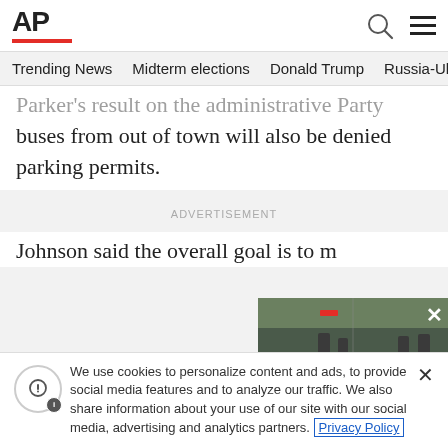AP
Trending News  Midterm elections  Donald Trump  Russia-Ukr
buses from out of town will also be denied parking permits.
ADVERTISEMENT
[Figure (photo): Video thumbnail showing military personnel in an outdoor setting]
Johnson said the overall goal is to m
We use cookies to personalize content and ads, to provide social media features and to analyze our traffic. We also share information about your use of our site with our social media, advertising and analytics partners. Privacy Policy